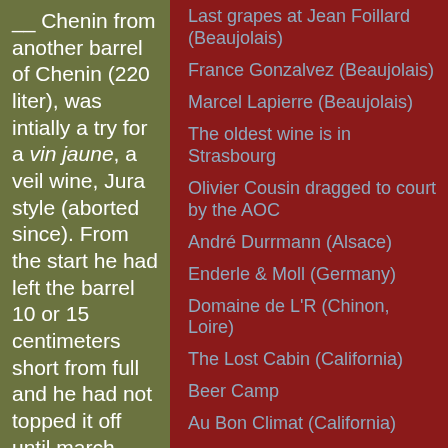__ Chenin from another barrel of Chenin (220 liter), was intially a try for a vin jaune, a veil wine, Jura style (aborted since). From the start he had left the barrel 10 or 15 centimeters short from full and he had not topped it off until march (when he aborted his experiment). He
Last grapes at Jean Foillard (Beaujolais)
France Gonzalvez (Beaujolais)
Marcel Lapierre (Beaujolais)
The oldest wine is in Strasbourg
Olivier Cousin dragged to court by the AOC
André Durrmann (Alsace)
Enderle & Moll (Germany)
Domaine de L'R (Chinon, Loire)
The Lost Cabin (California)
Beer Camp
Au Bon Climat (California)
AmByth (California)